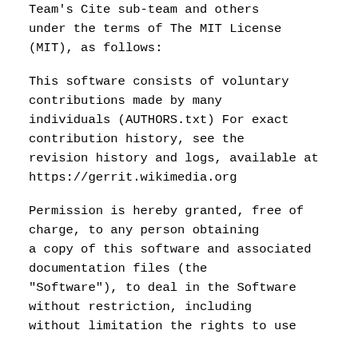Team's Cite sub-team and others under the terms of The MIT License (MIT), as follows:
This software consists of voluntary contributions made by many individuals (AUTHORS.txt) For exact contribution history, see the revision history and logs, available at https://gerrit.wikimedia.org
Permission is hereby granted, free of charge, to any person obtaining a copy of this software and associated documentation files (the "Software"), to deal in the Software without restriction, including without limitation the rights to use